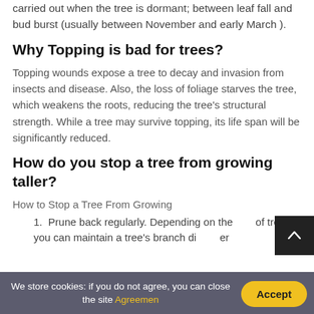carried out when the tree is dormant; between leaf fall and bud burst (usually between November and early March ).
Why Topping is bad for trees?
Topping wounds expose a tree to decay and invasion from insects and disease. Also, the loss of foliage starves the tree, which weakens the roots, reducing the tree's structural strength. While a tree may survive topping, its life span will be significantly reduced.
How do you stop a tree from growing taller?
How to Stop a Tree From Growing
Prune back regularly. Depending on the type of tree, you can maintain a tree's branch dia...er
We store cookies: if you do not agree, you can close the site Agreemen
Accept